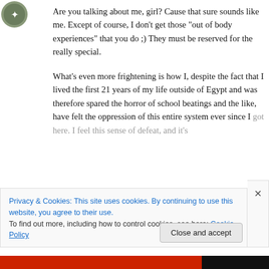[Figure (illustration): Small circular avatar icon, appears to be a grey/green stylized emblem]
Are you talking about me, girl? Cause that sure sounds like me. Except of course, I don't get those “out of body experiences” that you do ;) They must be reserved for the really special.
What’s even more frightening is how I, despite the fact that I lived the first 21 years of my life outside of Egypt and was therefore spared the horror of school beatings and the like, have felt the oppression of this entire system ever since I got here. I feel this sense of defeat, and it’s
Privacy & Cookies: This site uses cookies. By continuing to use this website, you agree to their use.
To find out more, including how to control cookies, see here: Cookie Policy
Close and accept